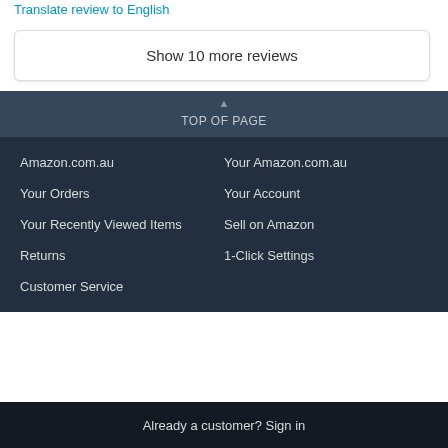Translate review to English
Show 10 more reviews
TOP OF PAGE
Amazon.com.au
Your Amazon.com.au
Your Orders
Your Account
Your Recently Viewed Items
Sell on Amazon
Returns
1-Click Settings
Customer Service
Already a customer? Sign in